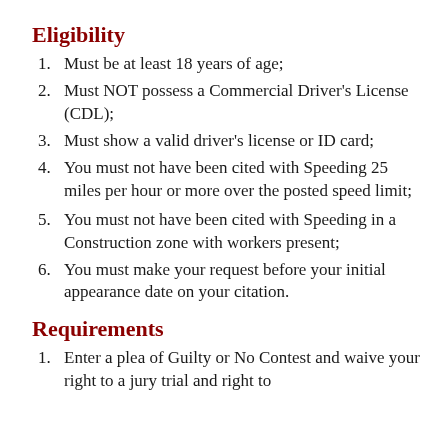Eligibility
Must be at least 18 years of age;
Must NOT possess a Commercial Driver's License (CDL);
Must show a valid driver's license or ID card;
You must not have been cited with Speeding 25 miles per hour or more over the posted speed limit;
You must not have been cited with Speeding in a Construction zone with workers present;
You must make your request before your initial appearance date on your citation.
Requirements
Enter a plea of Guilty or No Contest and waive your right to a jury trial and right to